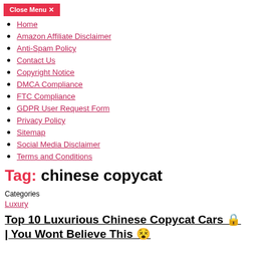Close Menu ✕
Home
Amazon Affiliate Disclaimer
Anti-Spam Policy
Contact Us
Copyright Notice
DMCA Compliance
FTC Compliance
GDPR User Request Form
Privacy Policy
Sitemap
Social Media Disclaimer
Terms and Conditions
Tag: chinese copycat
Categories
Luxury
Top 10 Luxurious Chinese Copycat Cars 🔒 | You Wont Believe This 😵